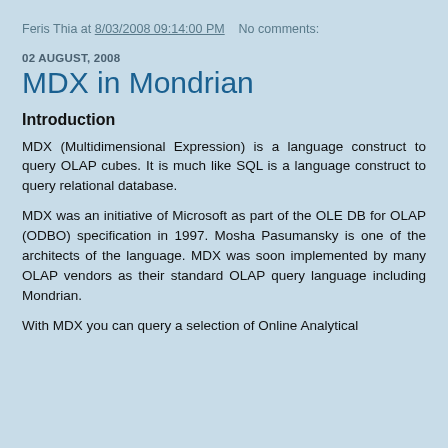Feris Thia at 8/03/2008 09:14:00 PM   No comments:
02 AUGUST, 2008
MDX in Mondrian
Introduction
MDX (Multidimensional Expression) is a language construct to query OLAP cubes. It is much like SQL is a language construct to query relational database.
MDX was an initiative of Microsoft as part of the OLE DB for OLAP (ODBO) specification in 1997. Mosha Pasumansky is one of the architects of the language. MDX was soon implemented by many OLAP vendors as their standard OLAP query language including Mondrian.
With MDX you can query a selection of Online Analytical